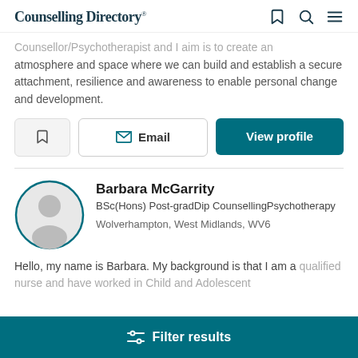Counselling Directory
Counsellor/Psychotherapist and I aim is to create an atmosphere and space where we can build and establish a secure attachment, resilience and awareness to enable personal change and development.
Email | View profile
Barbara McGarrity
BSc(Hons) Post-gradDip CounsellingPsychotherapy
Wolverhampton, West Midlands, WV6
Hello, my name is Barbara. My background is that I am a qualified nurse and have worked in Child and Adolescent